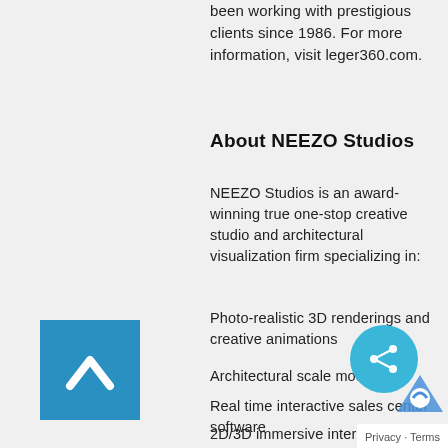been working with prestigious clients since 1986. For more information, visit leger360.com.
About NEEZO Studios
NEEZO Studios is an award-winning true one-stop creative studio and architectural visualization firm specializing in:
Photo-realistic 3D renderings and creative animations
Architectural scale models
Real time interactive sales center software
2D/3D immersive interactive applications